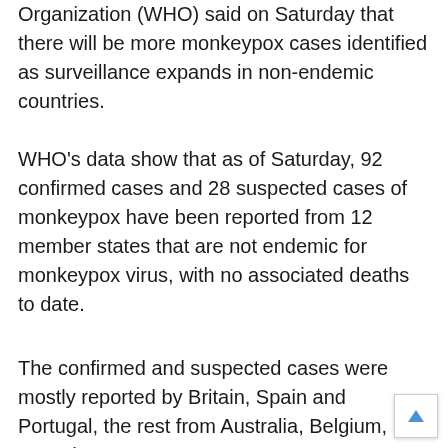Organization (WHO) said on Saturday that there will be more monkeypox cases identified as surveillance expands in non-endemic countries.
WHO's data show that as of Saturday, 92 confirmed cases and 28 suspected cases of monkeypox have been reported from 12 member states that are not endemic for monkeypox virus, with no associated deaths to date.
The confirmed and suspected cases were mostly reported by Britain, Spain and Portugal, the rest from Australia, Belgium, Canada,